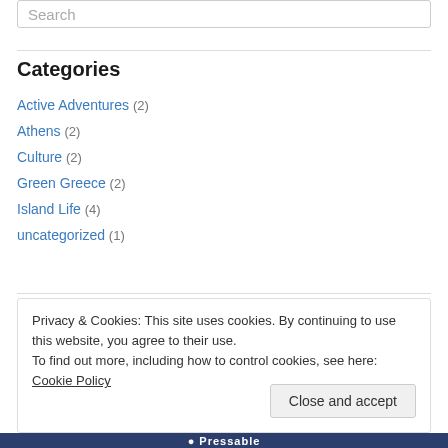Search
Categories
Active Adventures (2)
Athens (2)
Culture (2)
Green Greece (2)
Island Life (4)
uncategorized (1)
Privacy & Cookies: This site uses cookies. By continuing to use this website, you agree to their use. To find out more, including how to control cookies, see here: Cookie Policy
Close and accept
Pressable